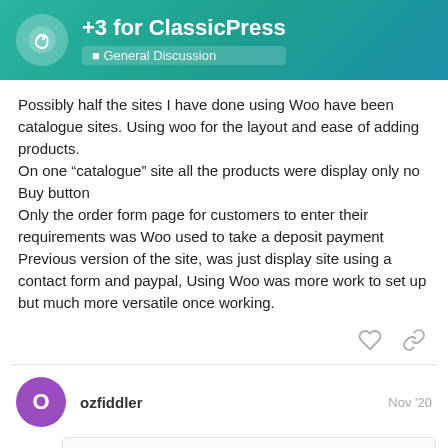+3 for ClassicPress — General Discussion
Possibly half the sites I have done using Woo have been catalogue sites. Using woo for the layout and ease of adding products.
On one “catalogue” site all the products were display only no Buy button
Only the order form page for customers to enter their requirements was Woo used to take a deposit payment
Previous version of the site, was just display site using a contact form and paypal, Using Woo was more work to set up but much more versatile once working.
ozfiddler  Nov '20
Mark:  8/9